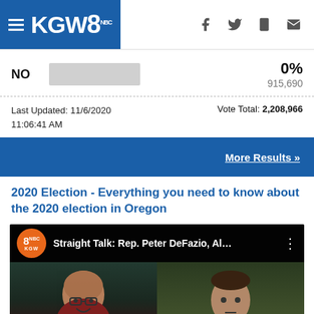KGW8
NO   0%   915,690
Last Updated: 11/6/2020 11:06:41 AM   Vote Total: 2,208,966
More Results »
2020 Election - Everything you need to know about the 2020 election in Oregon
[Figure (screenshot): Video thumbnail showing KGW8 Straight Talk: Rep. Peter DeFazio, Al... with two faces split screen]